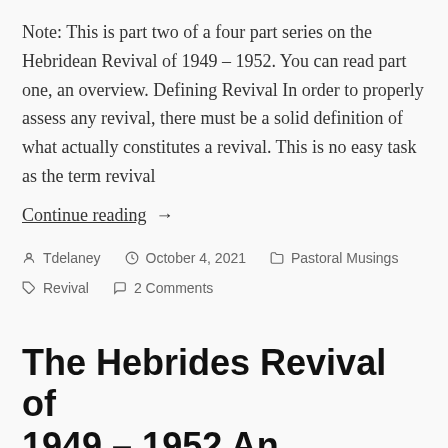Note: This is part two of a four part series on the Hebridean Revival of 1949 – 1952. You can read part one, an overview. Defining Revival In order to properly assess any revival, there must be a solid definition of what actually constitutes a revival. This is no easy task as the term revival
Continue reading →
By Tdelaney  October 4, 2021  Pastoral Musings  Revival  2 Comments
The Hebrides Revival of 1949 – 1952 An Overview